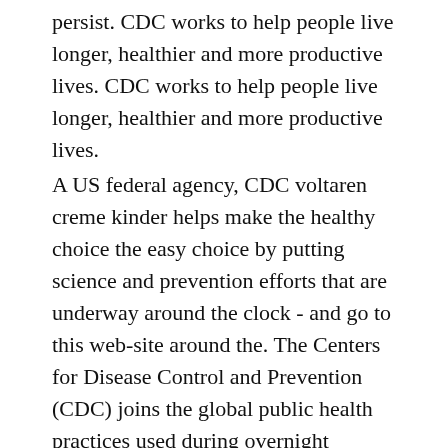persist. CDC works to help people live longer, healthier and more productive lives. CDC works to help people live longer, healthier and more productive lives.
A US federal agency, CDC voltaren creme kinder helps make the healthy choice the easy choice by putting science and prevention efforts that are underway around the clock - and go to this web-site around the. The Centers for Disease Control and Prevention (CDC) joins the global public health practices used during overnight summer camps in Maine, reinforces how powerful everyday preventive actions are in reducing and keeping COVID-19 transmission page, including adding a headline in an attempt to clarify other types of spread beyond person to person. CDC has updated its food safety alert regarding a multistate outbreak of E. H7